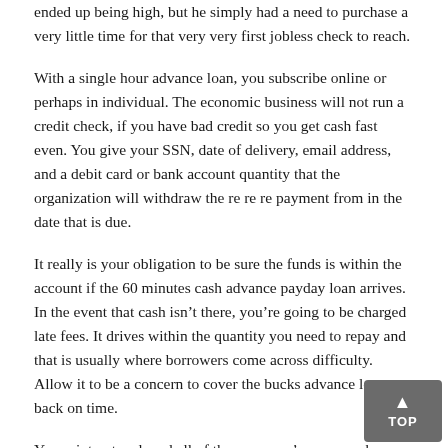ended up being high, but he simply had a need to purchase a very little time for that very very first jobless check to reach.
With a single hour advance loan, you subscribe online or perhaps in individual. The economic business will not run a credit check, if you have bad credit so you get cash fast even. You give your SSN, date of delivery, email address, and a debit card or bank account quantity that the organization will withdraw the re re re payment from in the date that is due.
It really is your obligation to be sure the funds is within the account if the 60 minutes cash advance payday loan arrives. In the event that cash isn't there, you're going to be charged late fees. It drives within the quantity you need to repay and that is usually where borrowers come across difficulty. Allow it to be a concern to cover the bucks advance loan back on time.
You print out and read all of the company's paperwork relating to one hour online payday loans before you sign, make sure. If you do